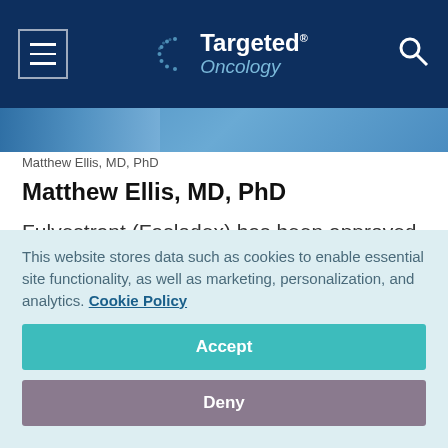Targeted Oncology
[Figure (photo): Partial photo of Matthew Ellis, MD, PhD]
Matthew Ellis, MD, PhD
Matthew Ellis, MD, PhD
Fulvestrant (Faslodex) has been approved by the FDA for use in hormone receptor (HR)-positive, HER2-negative locally-advanced or metastatic breast cancer in postmenopausal women not
This website stores data such as cookies to enable essential site functionality, as well as marketing, personalization, and analytics. Cookie Policy
Accept
Deny